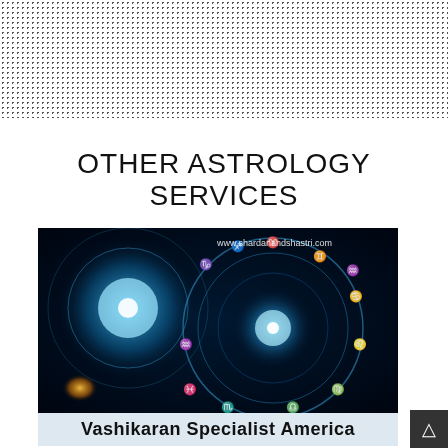[Figure (illustration): Dotted/halftone pattern header background at top of page]
OTHER ASTROLOGY SERVICES
[Figure (photo): Astrology zodiac wheel image with glowing blue cosmic symbols and zodiac signs on dark background. Website watermark 'www.shardanandshastri.com' visible. Caption bar reads 'Vashikaran Specialist America']